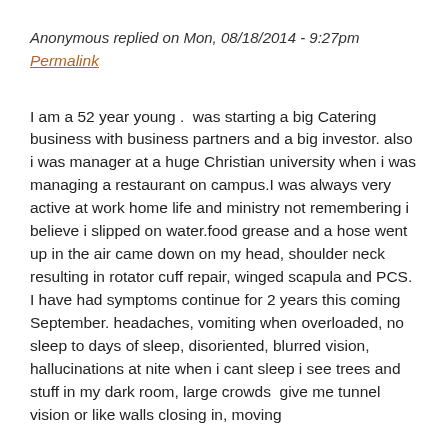Anonymous replied on Mon, 08/18/2014 - 9:27pm
Permalink
I am a 52 year young .  was starting a big Catering business with business partners and a big investor. also i was manager at a huge Christian university when i was managing a restaurant on campus.I was always very active at work home life and ministry not remembering i believe i slipped on water.food grease and a hose went  up in the air came down on my head, shoulder neck resulting in rotator cuff repair, winged scapula and PCS. I have had symptoms continue for 2 years this coming September. headaches, vomiting when overloaded, no sleep to days of sleep, disoriented, blurred vision, hallucinations at nite when i cant sleep i see trees and stuff in my dark room, large crowds  give me tunnel vision or like walls closing in, moving